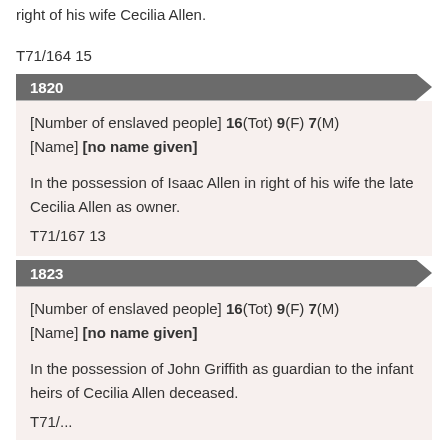right of his wife Cecilia Allen.
T71/164 15
1820
[Number of enslaved people] 16(Tot) 9(F) 7(M)
[Name] [no name given]
In the possession of Isaac Allen in right of his wife the late Cecilia Allen as owner.
T71/167 13
1823
[Number of enslaved people] 16(Tot) 9(F) 7(M)
[Name] [no name given]
In the possession of John Griffith as guardian to the infant heirs of Cecilia Allen deceased.
T71/...